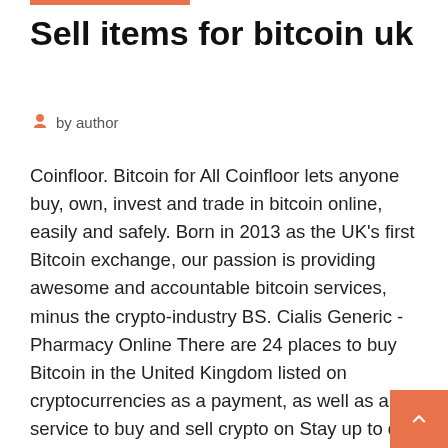Sell items for bitcoin uk
by author
Coinfloor. Bitcoin for All Coinfloor lets anyone buy, own, invest and trade in bitcoin online, easily and safely. Born in 2013 as the UK's first Bitcoin exchange, our passion is providing awesome and accountable bitcoin services, minus the crypto-industry BS. Cialis Generic - Pharmacy Online
There are 24 places to buy Bitcoin in the United Kingdom listed on cryptocurrencies as a payment, as well as a service to buy and sell crypto on Stay up to date with all things crypto and enjoy the handpicks in our Cryptoradar newsletter. Before you start using Bitcoin, there are a few things that you need to know in order to use it securely and avoid common pitfalls. Read more. Choose your wallet. use the Revolut app to buy, sell, receive or spend cryptocurrency; or; send cryptocurrency to other Revolut accounts. They also set out other important things that you need to know. Cryptocurrencies are not e-